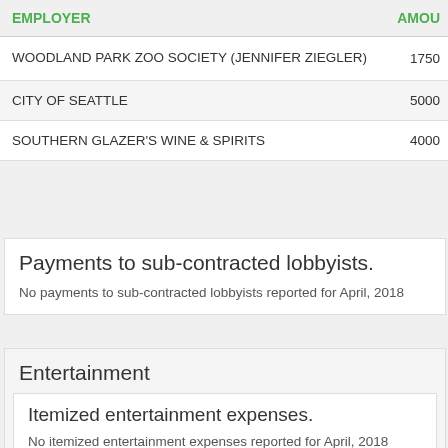| EMPLOYER | AMOUNT |
| --- | --- |
| WOODLAND PARK ZOO SOCIETY (JENNIFER ZIEGLER) | 1750 |
| CITY OF SEATTLE | 5000 |
| SOUTHERN GLAZER'S WINE & SPIRITS | 4000 |
Payments to sub-contracted lobbyists.
No payments to sub-contracted lobbyists reported for April, 2018
Entertainment
Itemized entertainment expenses.
No itemized entertainment expenses reported for April, 2018